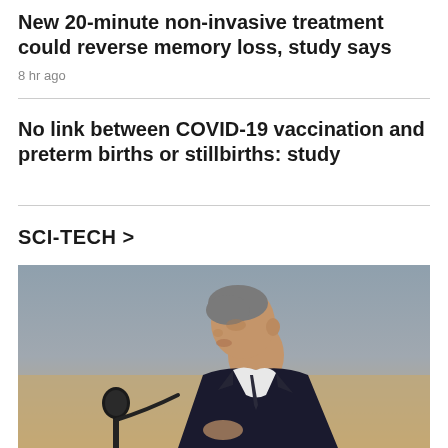New 20-minute non-invasive treatment could reverse memory loss, study says
8 hr ago
No link between COVID-19 vaccination and preterm births or stillbirths: study
SCI-TECH >
[Figure (photo): A man in a dark suit speaking into a microphone, photographed from a side profile angle against a muted background.]